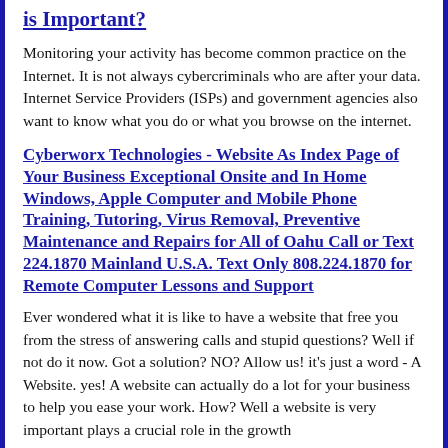is Important?
Monitoring your activity has become common practice on the Internet. It is not always cybercriminals who are after your data. Internet Service Providers (ISPs) and government agencies also want to know what you do or what you browse on the internet.
Cyberworx Technologies - Website As Index Page of Your Business Exceptional Onsite and In Home Windows, Apple Computer and Mobile Phone Training, Tutoring, Virus Removal, Preventive Maintenance and Repairs for All of Oahu Call or Text 224.1870 Mainland U.S.A. Text Only 808.224.1870 for Remote Computer Lessons and Support
Ever wondered what it is like to have a website that free you from the stress of answering calls and stupid questions? Well if not do it now. Got a solution? NO? Allow us! it's just a word - A Website. yes! A website can actually do a lot for your business to help you ease your work. How? Well a website is very important plays a crucial role in the growth